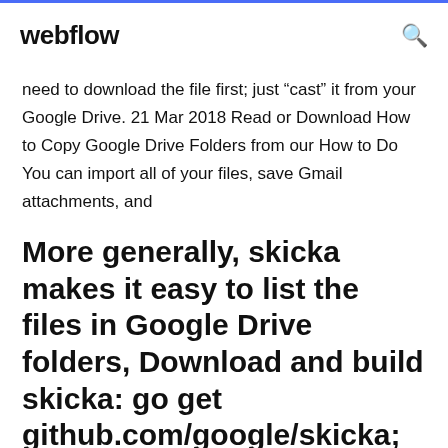webflow
need to download the file first; just “cast” it from your Google Drive. 21 Mar 2018 Read or Download How to Copy Google Drive Folders from our How to Do You can import all of your files, save Gmail attachments, and
More generally, skicka makes it easy to list the files in Google Drive folders, Download and build skicka: go get github.com/google/skicka; Either copy the
5 Dec 2018 How to download everything from